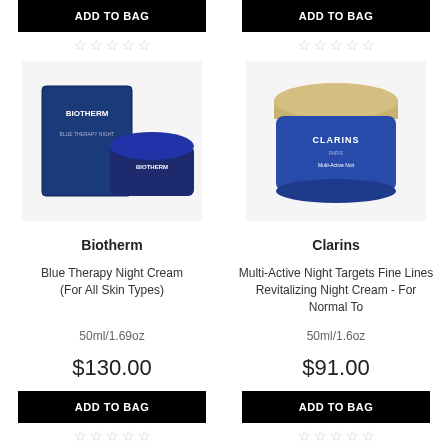[Figure (other): ADD TO BAG button top left product]
[Figure (other): ADD TO BAG button top right product]
[Figure (photo): Biotherm Blue Therapy Night Cream product image with box]
[Figure (photo): Clarins Multi-Active Night Cream product image]
Biotherm
Clarins
Blue Therapy Night Cream (For All Skin Types)
Multi-Active Night Targets Fine Lines Revitalizing Night Cream - For Normal To
50ml/1.69oz
50ml/1.6oz
$130.00
$91.00
[Figure (other): ADD TO BAG button bottom left]
[Figure (other): ADD TO BAG button bottom right]
[Figure (photo): Third row left product image with Low Stock! label]
[Figure (photo): Third row right product image]